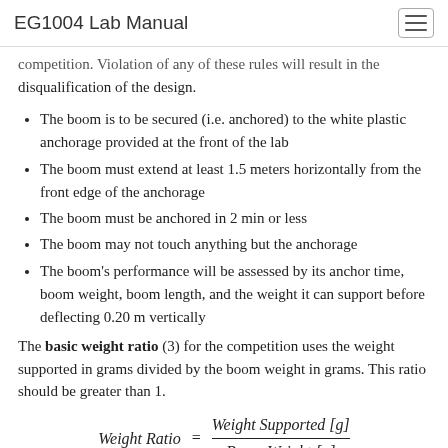EG1004 Lab Manual
competition. Violation of any of these rules will result in the disqualification of the design.
The boom is to be secured (i.e. anchored) to the white plastic anchorage provided at the front of the lab
The boom must extend at least 1.5 meters horizontally from the front edge of the anchorage
The boom must be anchored in 2 min or less
The boom may not touch anything but the anchorage
The boom's performance will be assessed by its anchor time, boom weight, boom length, and the weight it can support before deflecting 0.20 m vertically
The basic weight ratio (3) for the competition uses the weight supported in grams divided by the boom weight in grams. This ratio should be greater than 1.
The winning design will be determined by the weighted design